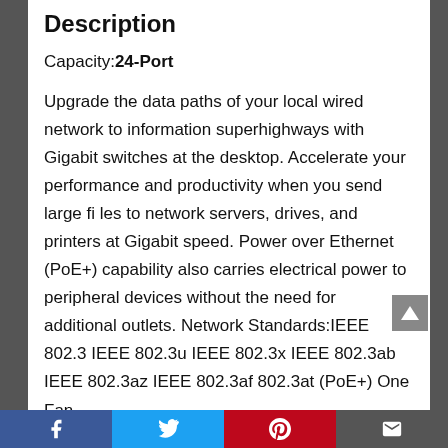Description
Capacity: 24-Port
Upgrade the data paths of your local wired network to information superhighways with Gigabit switches at the desktop. Accelerate your performance and productivity when you send large fi les to network servers, drives, and printers at Gigabit speed. Power over Ethernet (PoE+) capability also carries electrical power to peripheral devices without the need for additional outlets. Network Standards:IEEE 802.3 IEEE 802.3u IEEE 802.3x IEEE 802.3ab IEEE 802.3az IEEE 802.3af 802.3at (PoE+) One Fan
Facebook Twitter Pinterest Email